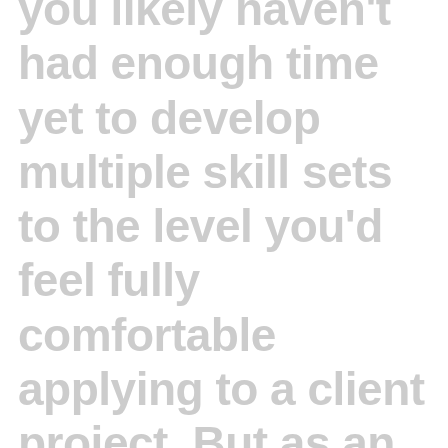you likely haven't had enough time yet to develop multiple skill sets to the level you'd feel fully comfortable applying to a client project. But as an intern or junior designer, we believe it's far more important to try new things and